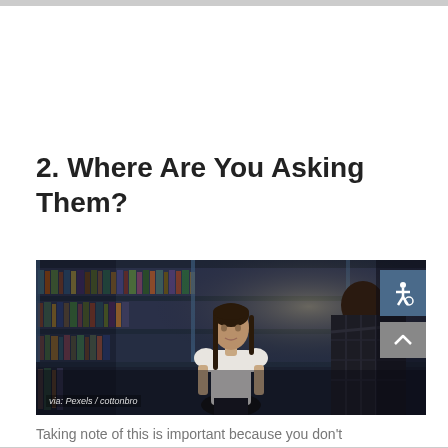2. Where Are You Asking Them?
[Figure (photo): Two people standing in a library with rows of bookshelves filled with books in the background. A young woman in a white blouse faces the camera while a man in dark clothing faces away. Photo credited via: Pexels / cottonbro.]
via: Pexels / cottonbro
Taking note of this is important because you don't